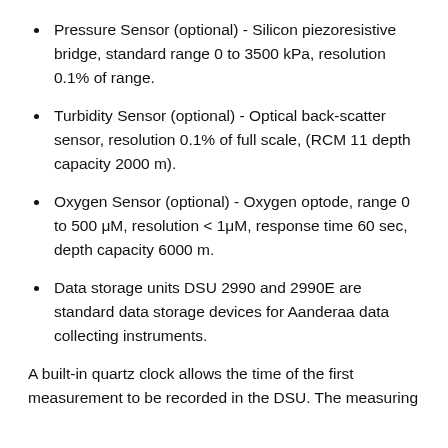Pressure Sensor (optional) - Silicon piezoresistive bridge, standard range 0 to 3500 kPa, resolution 0.1% of range.
Turbidity Sensor (optional) - Optical back-scatter sensor, resolution 0.1% of full scale, (RCM 11 depth capacity 2000 m).
Oxygen Sensor (optional) - Oxygen optode, range 0 to 500 μM, resolution < 1μM, response time 60 sec, depth capacity 6000 m.
Data storage units DSU 2990 and 2990E are standard data storage devices for Aanderaa data collecting instruments.
A built-in quartz clock allows the time of the first measurement to be recorded in the DSU. The measuring